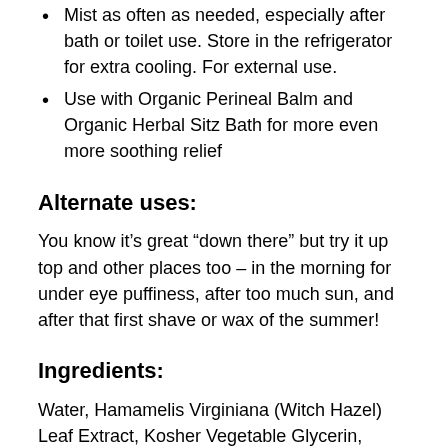Mist as often as needed, especially after bath or toilet use. Store in the refrigerator for extra cooling. For external use.
Use with Organic Perineal Balm and Organic Herbal Sitz Bath for more even more soothing relief
Alternate uses:
You know it’s great “down there” but try it up top and other places too – in the morning for under eye puffiness, after too much sun, and after that first shave or wax of the summer!
Ingredients:
Water, Hamamelis Virginiana (Witch Hazel) Leaf Extract, Kosher Vegetable Glycerin, Cucumis Sativus (Cucumber) Fruit Extract, Lavandula Angustifolia (Lavender) Flower Oil, Mentha Piperita (Peppermint)